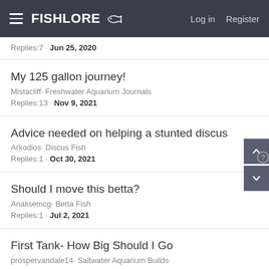FishLore | Log in | Register
Replies:7 · Jun 25, 2020
My 125 gallon journey!
Mistacliff· Freshwater Aquarium Journals
Replies:13 · Nov 9, 2021
Advice needed on helping a stunted discus
Arkodios· Discus Fish
Replies:1 · Oct 30, 2021
Should I move this betta?
Analisemcg· Betta Fish
Replies:1 · Jul 2, 2021
First Tank- How Big Should I Go
prospervandal e14· Saltwater Aquarium Builds
Replies:6 · Mar 1, 2017